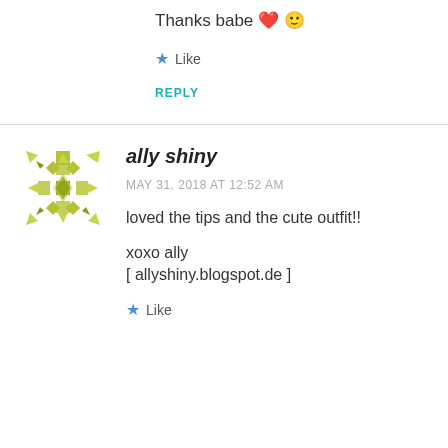Thanks babe ❤ 🙂
★ Like
REPLY
[Figure (illustration): Avatar/profile icon for ally shiny — geometric snowflake pattern in olive/yellow-green colors]
ally shiny
MAY 31, 2018 AT 12:52 AM
loved the tips and the cute outfit!!
xoxo ally
[ allyshiny.blogspot.de ]
★ Like